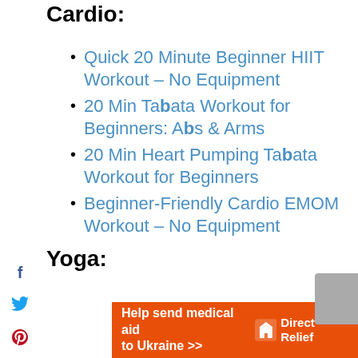Cardio:
Quick 20 Minute Beginner HIIT Workout – No Equipment
20 Min Tabata Workout for Beginners: Abs & Arms
20 Min Heart Pumping Tabata Workout for Beginners
Beginner-Friendly Cardio EMOM Workout – No Equipment
Yoga:
[Figure (infographic): Orange advertisement banner for Direct Relief: 'Help send medical aid to Ukraine >>' with Direct Relief logo on the right]